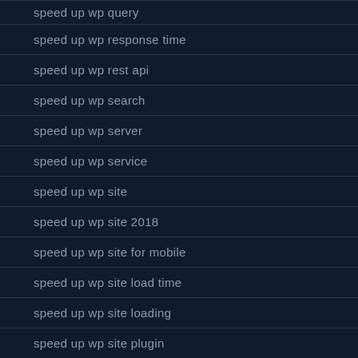speed up wp query
speed up wp response time
speed up wp rest api
speed up wp search
speed up wp server
speed up wp service
speed up wp site
speed up wp site 2018
speed up wp site for mobile
speed up wp site load time
speed up wp site loading
speed up wp site plugin
speed up wp site service